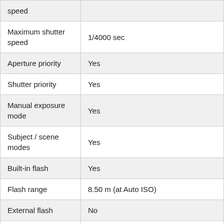| Feature | Value |
| --- | --- |
| speed |  |
| Maximum shutter speed | 1/4000 sec |
| Aperture priority | Yes |
| Shutter priority | Yes |
| Manual exposure mode | Yes |
| Subject / scene modes | Yes |
| Built-in flash | Yes |
| Flash range | 8.50 m (at Auto ISO) |
| External flash | No |
|  | Off, auto, fill, slow sync, advanced, |